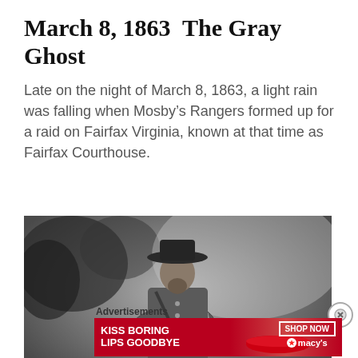March 8, 1863  The Gray Ghost
Late on the night of March 8, 1863, a light rain was falling when Mosby’s Rangers formed up for a raid on Fairfax Virginia, known at that time as Fairfax Courthouse.
[Figure (photo): Black and white photograph of a bearded man in a Confederate officer uniform with a wide-brimmed hat, standing with hand on hip, with trees in the background. Likely John Singleton Mosby.]
Advertisements
[Figure (screenshot): Advertisement banner with red background showing 'KISS BORING LIPS GOODBYE' text on left, a woman's face with red lips in center, and 'SHOP NOW' button and Macy's logo with star on right.]